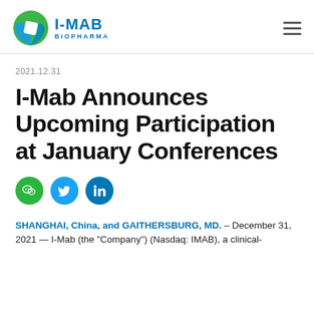[Figure (logo): I-Mab Biopharma logo with circular green/blue icon and blue text]
2021.12.31
I-Mab Announces Upcoming Participation at January Conferences
[Figure (infographic): Social media share buttons: WeChat (green), Twitter (blue), LinkedIn (dark blue)]
SHANGHAI, China, and GAITHERSBURG, MD. – December 31, 2021 — I-Mab (the "Company") (Nasdaq: IMAB), a clinical-